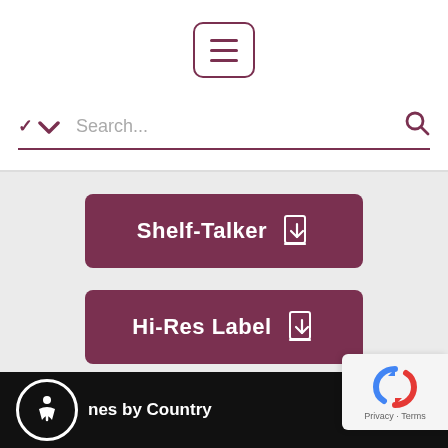[Figure (screenshot): Hamburger menu button with three horizontal lines, rounded rectangle border in dark maroon]
[Figure (screenshot): Search bar with chevron dropdown icon on left, placeholder text 'Search...', and magnifying glass icon on right, underlined in dark maroon]
Shelf-Talker (download button)
Hi-Res Label (download button)
Bottle Shot (download button)
nes by Country   About Us   Argentina   Blog